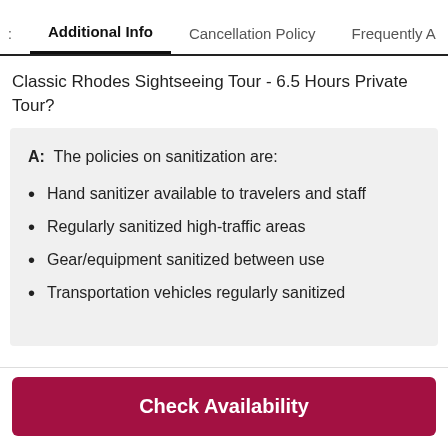Additional Info | Cancellation Policy | Frequently A
Classic Rhodes Sightseeing Tour - 6.5 Hours Private Tour?
A: The policies on sanitization are:
Hand sanitizer available to travelers and staff
Regularly sanitized high-traffic areas
Gear/equipment sanitized between use
Transportation vehicles regularly sanitized
Check Availability